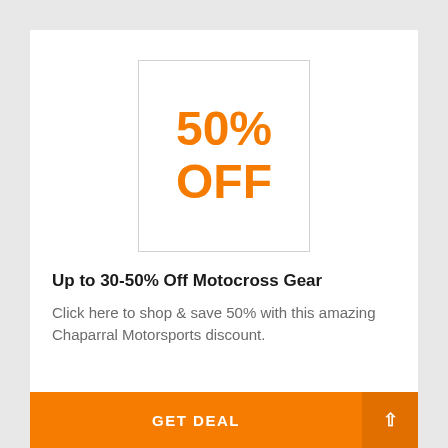[Figure (illustration): White box with orange bold text reading '50% OFF']
Up to 30-50% Off Motocross Gear
Click here to shop & save 50% with this amazing Chaparral Motorsports discount.
GET DEAL